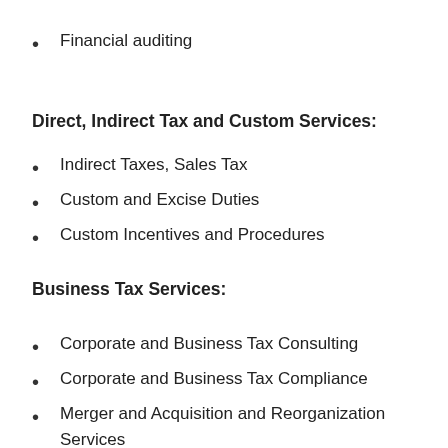Financial auditing
Direct, Indirect Tax and Custom Services:
Indirect Taxes, Sales Tax
Custom and Excise Duties
Custom Incentives and Procedures
Business Tax Services:
Corporate and Business Tax Consulting
Corporate and Business Tax Compliance
Merger and Acquisition and Reorganization Services
Employment Compensation and Benefits